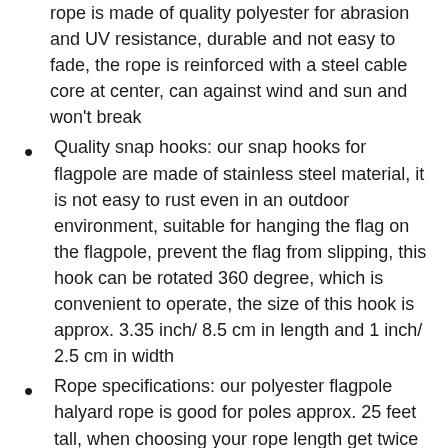rope is made of quality polyester for abrasion and UV resistance, durable and not easy to fade, the rope is reinforced with a steel cable core at center, can against wind and sun and won't break
Quality snap hooks: our snap hooks for flagpole are made of stainless steel material, it is not easy to rust even in an outdoor environment, suitable for hanging the flag on the flagpole, prevent the flag from slipping, this hook can be rotated 360 degree, which is convenient to operate, the size of this hook is approx. 3.35 inch/ 8.5 cm in length and 1 inch/ 2.5 cm in width
Rope specifications: our polyester flagpole halyard rope is good for poles approx. 25 feet tall, when choosing your rope length get twice the above ground length of your flagpole, please make sure the rope thickness and size before you choose it